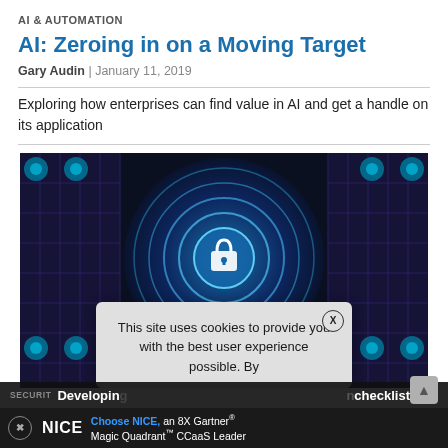AI & AUTOMATION
AI: Zeroing in on a Moving Target
Gary Audin | January 11, 2019
Exploring how enterprises can find value in AI and get a handle on its application
[Figure (photo): Cybersecurity themed image: glowing blue padlock icon centered on concentric digital rings with a dark blue/purple circuit-board background with teal accents. A cookie consent popup overlays the lower portion reading: 'This site uses cookies to provide you with the best user experience possible. By' with an X close button.]
This site uses cookies to provide you with the best user experience possible. By
NICE | Choose NICE, an 8X Gartner® Magic Quadrant™ CCaaS Leader
SECURITY | Developing... checklist